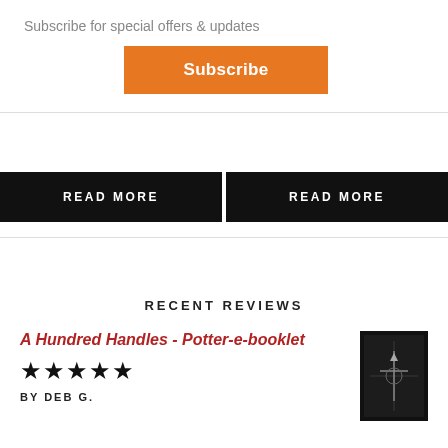Subscribe for special offers & updates
Subscribe
×
READ MORE
READ MORE
RECENT REVIEWS
A Hundred Handles - Potter-e-booklet
★★★★★
BY DEB G.
[Figure (photo): Book cover of A Hundred Handles - dark cover with illustration]